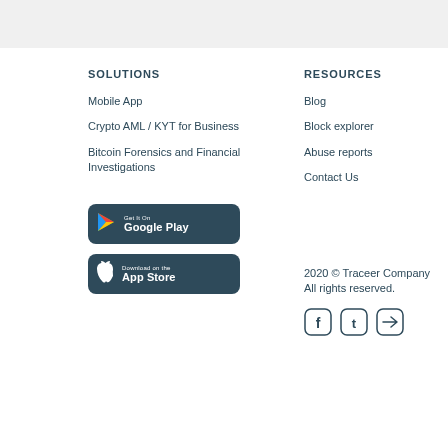SOLUTIONS
Mobile App
Crypto AML / KYT for Business
Bitcoin Forensics and Financial Investigations
[Figure (logo): Google Play store badge with colored play triangle icon on dark teal background]
[Figure (logo): Apple App Store badge with white Apple logo icon on dark teal background]
RESOURCES
Blog
Block explorer
Abuse reports
Contact Us
2020 © Traceer Company All rights reserved.
[Figure (infographic): Three social media icons in rounded square outlines: Facebook (f), Twitter (t), and Telegram (arrow)]